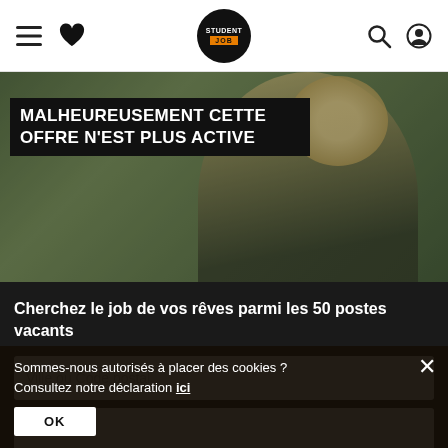StudentJob navigation bar with hamburger menu, heart/favorites icon, StudentJob logo, search icon, and account icon
[Figure (photo): Hero image background showing a blonde woman in a dark jacket against a green foliage background]
MALHEUREUSEMENT CETTE OFFRE N'EST PLUS ACTIVE
Cherchez le job de vos rêves parmi les 50 postes vacants
Ville ou Code postal
mot-clé
RECHERCHER
Sommes-nous autorisés à placer des cookies ? Consultez notre déclaration ici
OK